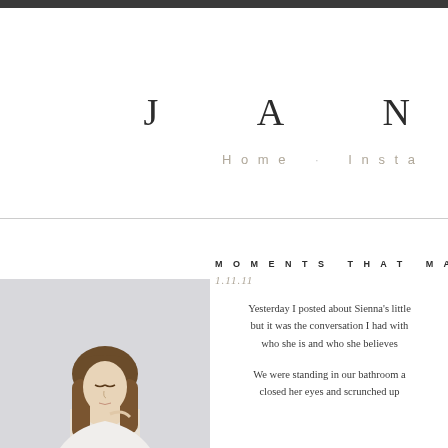J A N
Home   Insta
MOMENTS THAT MATTE
1.11.11
[Figure (photo): Woman with long brown hair and bangs, wearing a white top, looking downward against a light grey background]
Yesterday I posted about Sienna's little but it was the conversation I had with who she is and who she believes
We were standing in our bathroom a closed her eyes and scrunched up